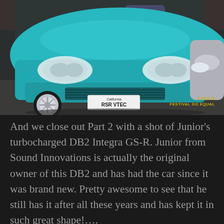[Figure (photo): Front view of a teal/turquoise Honda Acura DB2 Integra GS-R with license plate reading 'RSR VTEC', parked indoors at what appears to be a car show. Another silver/white car is partially visible on the right. A watermark in the bottom right reads 'CIVILS FESTIVAL DO EQUAL'.]
And we close out Part 2 with a shot of Junior's turbocharged DB2 Integra GS-R. Junior from Sound Innovations is actually the original owner of this DB2 and has had the car since it was brand new. Pretty awesome to see that he still has it after all these years and has kept it in such great shape!….